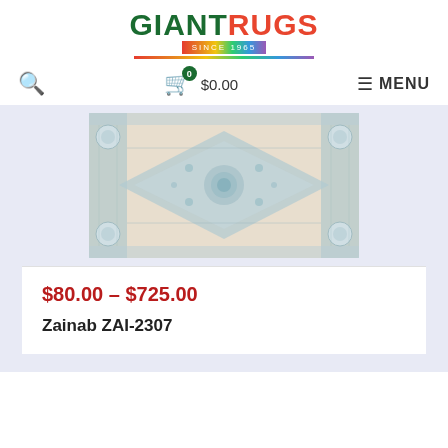[Figure (logo): Giant Rugs logo with 'SINCE 1965' tagline and rainbow bar]
0  $0.00  MENU
[Figure (photo): A faded blue and cream traditional/vintage style area rug with diamond medallion pattern]
$80.00 – $725.00
Zainab ZAI-2307